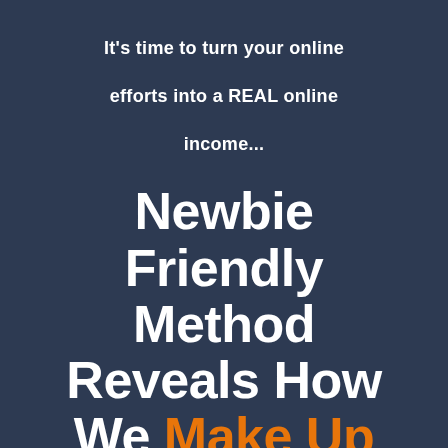It's time to turn your online efforts into a REAL online income...
Newbie Friendly Method Reveals How We Make Up